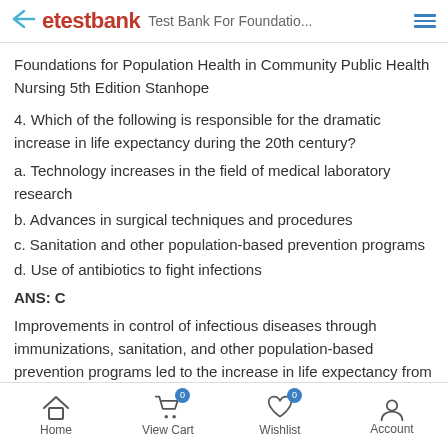etestbank  Test Bank For Foundatio...
Foundations for Population Health in Community Public Health Nursing 5th Edition Stanhope
4. Which of the following is responsible for the dramatic increase in life expectancy during the 20th century?
a. Technology increases in the field of medical laboratory research
b. Advances in surgical techniques and procedures
c. Sanitation and other population-based prevention programs
d. Use of antibiotics to fight infections
ANS: C
Improvements in control of infectious diseases through immunizations, sanitation, and other population-based prevention programs led to the increase in life expectancy from less than 50
Home  View Cart  Wishlist  Account